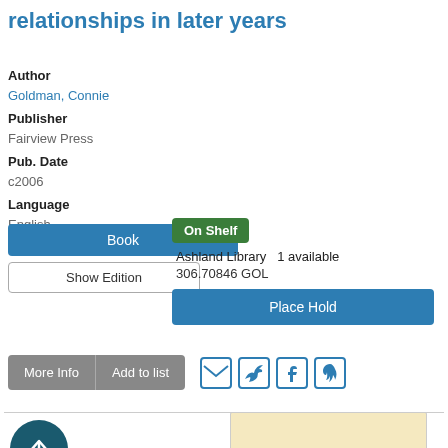relationships in later years
Author
Goldman, Connie
Publisher
Fairview Press
Pub. Date
c2006
Language
English
Book
Show Edition
On Shelf
Ashland Library  1 available
306.70846 GOL
Place Hold
More Info  Add to list
[Figure (illustration): Social sharing icons: email, Twitter, Facebook, Pinterest]
[Figure (photo): Book cover thumbnail: A Memoir of Letting Go Through Love and Death, aged cream background]
[Figure (other): Scroll-to-top button: dark teal circle with upward arrow]